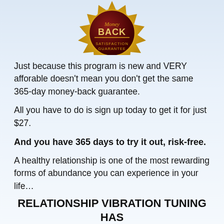[Figure (illustration): Gold coin/seal badge with dark red center reading 'BACK' and text 'SATISFACTION GUARANTEE' around the edge, partially cut off at top]
Just because this program is new and VERY afforable doesn't mean you don't get the same 365-day money-back guarantee.
All you have to do is sign up today to get it for just $27.
And you have 365 days to try it out, risk-free.
A healthy relationship is one of the most rewarding forms of abundance you can experience in your life…
RELATIONSHIP VIBRATION TUNING HAS HELPED MANY OF OUR MEMBERS TO